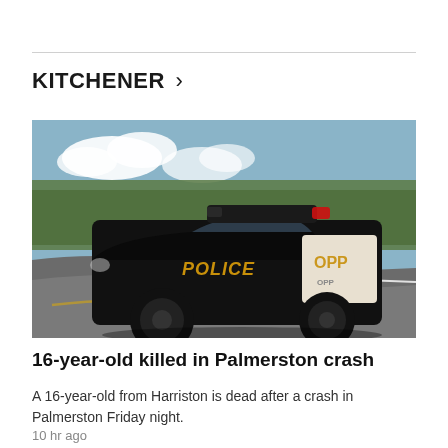KITCHENER >
[Figure (photo): A black OPP (Ontario Provincial Police) police car parked on a rural road, with trees in the background. The vehicle has 'POLICE' written in gold letters on the side and 'OPP' on the white door panel.]
16-year-old killed in Palmerston crash
A 16-year-old from Harriston is dead after a crash in Palmerston Friday night.
10 hr ago